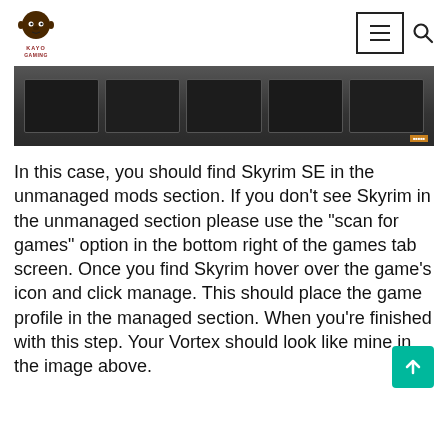Kayo Gaming
[Figure (screenshot): Screenshot of Vortex mod manager games tab showing multiple game cards in a dark UI]
In this case, you should find Skyrim SE in the unmanaged mods section. If you don't see Skyrim in the unmanaged section please use the “scan for games” option in the bottom right of the games tab screen. Once you find Skyrim hover over the game’s icon and click manage. This should place the game profile in the managed section. When you’re finished with this step. Your Vortex should look like mine in the image above.